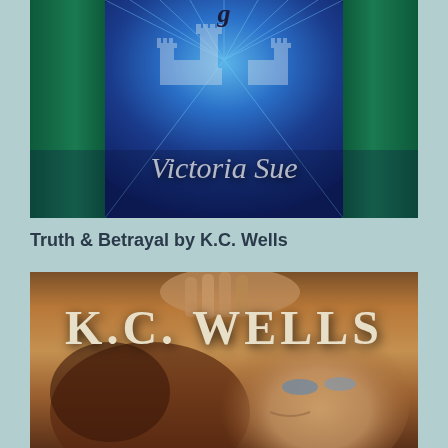[Figure (illustration): Book cover for a novel by Victoria Sue, featuring a blue and teal fantasy background with a castle silhouette and script author name 'Victoria Sue' in white italic text]
Truth & Betrayal by K.C. Wells
[Figure (illustration): Book cover for 'Truth & Betrayal' by K.C. Wells, showing the author name 'K.C. WELLS' in large serif letters over a warm brown-toned image of a man's face with blue eyes]